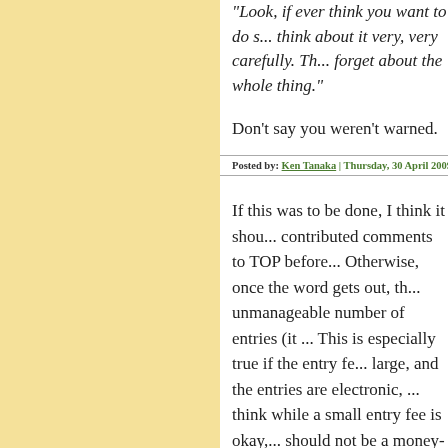"Look, if ever think you want to do s... think about it very, very carefully. Th... forget about the whole thing."
Don't say you weren't warned.
Posted by: Ken Tanaka | Thursday, 30 April 2009 at 02...
If this was to be done, I think it shou... contributed comments to TOP before... Otherwise, once the word gets out, th... unmanageable number of entries (it ... This is especially true if the entry fe... large, and the entries are electronic, ... think while a small entry fee is okay,... should not be a money-making prop... this would be unique -- we have a la... announced until after the contest clo... bad idea to have an open discussion ... is officially announced, so we don't s...